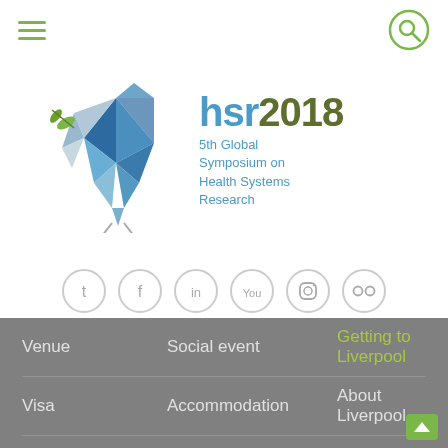[Figure (screenshot): Website navigation top bar with hamburger menu icon on left and search icon (circle with magnifying glass) on right]
[Figure (logo): HSR2018 logo: geometric origami bird in blue/grey tones with green leaf branch, text 'hsr2018' in blue/olive and '5th Global Symposium on Health Systems Research' in blue]
[Figure (infographic): Social media icons row: Twitter, Facebook, LinkedIn, YouTube, Instagram, Flickr - all in grey circle outlines]
Venue
Social event
Getting to Liverpool
Visa
Accommodation
About Liverpool
Child-friendly HSR2018
[Figure (photo): Bottom portion of page showing a photo of a historic brick building against a blue sky with clouds, viewed from below at an angle]